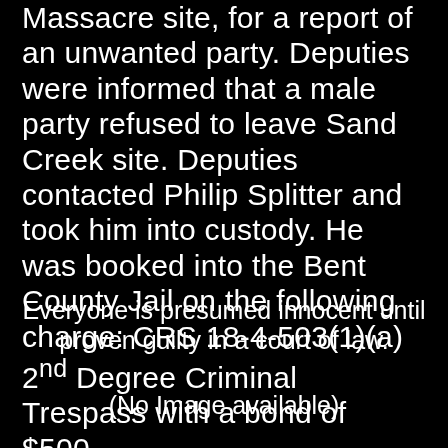Massacre site, for a report of an unwanted party. Deputies were informed that a male party refused to leave Sand Creek site. Deputies contacted Philip Splitter and took him into custody. He was booked into the Bent County Jail on the following charge: CRS 18-4-503(1)(a) 2nd Degree Criminal Trespass with a bond of $500.
Everyone is presumed innocent until proven guilty in a court of law.
(No Image available)